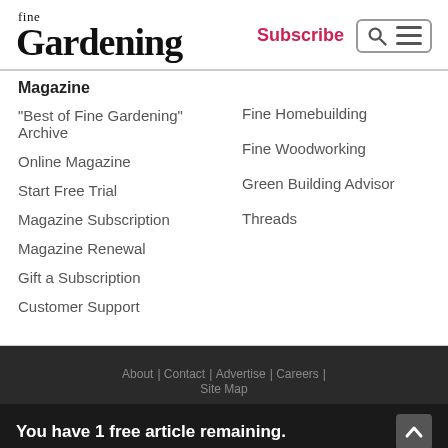fine Gardening | Subscribe
Magazine
"Best of Fine Gardening" Archive
Online Magazine
Start Free Trial
Magazine Subscription
Magazine Renewal
Gift a Subscription
Customer Support
Fine Homebuilding
Fine Woodworking
Green Building Advisor
Threads
About | Contact | Advertise | Careers | Site Map
You have 1 free article remaining.